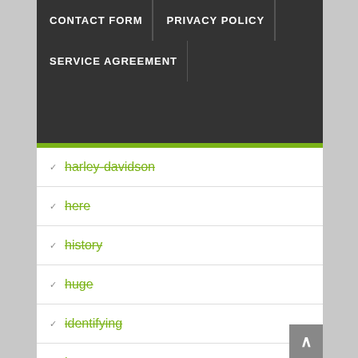CONTACT FORM | PRIVACY POLICY | SERVICE AGREEMENT
harley-davidson
here
history
huge
identifying
important
impossible
insane
interview
investing
john
just